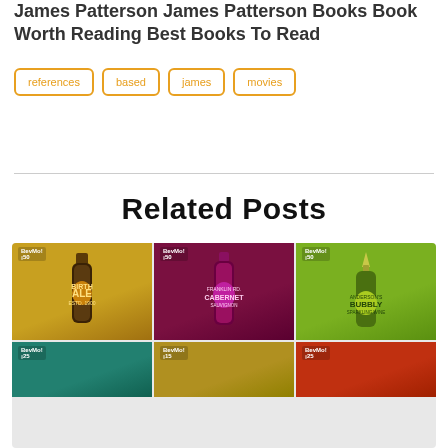James Patterson James Patterson Books Book Worth Reading Best Books To Read
references
based
james
movies
Related Posts
[Figure (photo): Grid of BevMo gift cards showing various illustrated beverage bottles: ALE (golden/brown background), CABERNET (dark red/magenta background), BUBBLY (green champagne bottle), and three more partially visible in lower row (teal, olive/gold, and red backgrounds).]